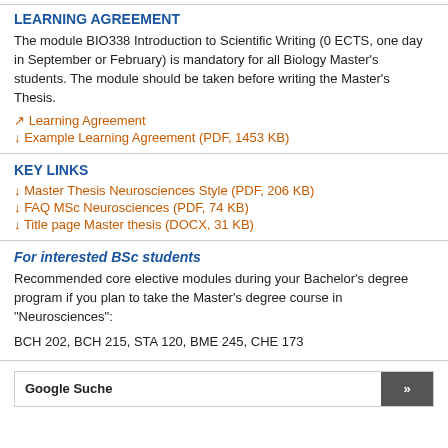LEARNING AGREEMENT
The module BIO338 Introduction to Scientific Writing (0 ECTS, one day in September or February) is mandatory for all Biology Master's students. The module should be taken before writing the Master's Thesis.
↗ Learning Agreement
↓ Example Learning Agreement (PDF, 1453 KB)
KEY LINKS
↓ Master Thesis Neurosciences Style (PDF, 206 KB)
↓ FAQ MSc Neurosciences (PDF, 74 KB)
↓ Title page Master thesis (DOCX, 31 KB)
For interested BSc students
Recommended core elective modules during your Bachelor's degree program if you plan to take the Master's degree course in "Neurosciences":
BCH 202, BCH 215, STA 120, BME 245, CHE 173
Google Suche »